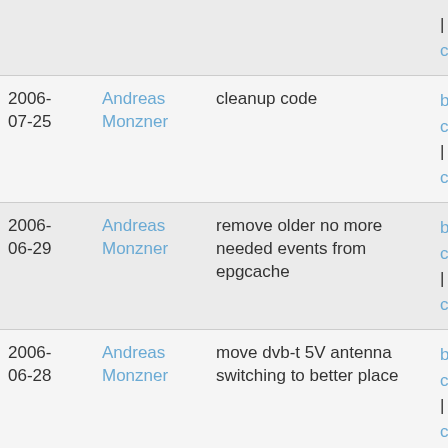| Date | Author | Message | Links |
| --- | --- | --- | --- |
|  |  |  | | diff to current |
| 2006-07-25 | Andreas Monzner | cleanup code | blob | commitc | diff to current |
| 2006-06-29 | Andreas Monzner | remove older no more needed events from epgcache | blob | commitc | diff to current |
| 2006-06-28 | Andreas Monzner | move dvb-t 5V antenna switching to better place | blob | commitc | diff to current |
| 2006-06-28 | Andreas Monzner | small private epg fix | blob | commitc | diff to current |